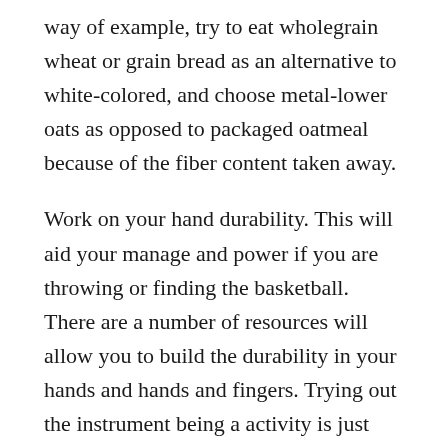way of example, try to eat wholegrain wheat or grain bread as an alternative to white-colored, and choose metal-lower oats as opposed to packaged oatmeal because of the fiber content taken away.
Work on your hand durability. This will aid your manage and power if you are throwing or finding the basketball. There are a number of resources will allow you to build the durability in your hands and hands and fingers. Trying out the instrument being a activity is just one entertaining way to achieve this.
Always focus on improving your rate and handle when working. You must also work towards your abilities to observe what is going on around you whilst you